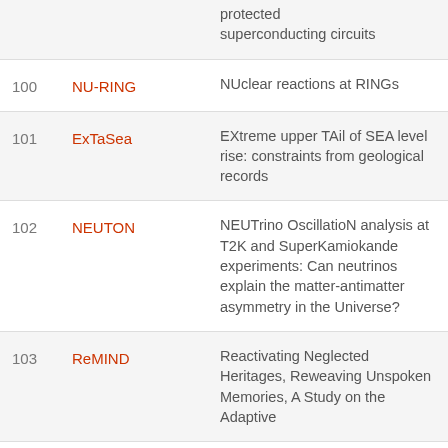| # | Acronym | Title |
| --- | --- | --- |
|  |  | protected superconducting circuits |
| 100 | NU-RING | NUclear reactions at RINGs |
| 101 | ExTaSea | EXtreme upper TAil of SEA level rise: constraints from geological records |
| 102 | NEUTON | NEUTrino OscillatioN analysis at T2K and SuperKamiokande experiments: Can neutrinos explain the matter-antimatter asymmetry in the Universe? |
| 103 | ReMIND | Reactivating Neglected Heritages, Reweaving Unspoken Memories, A Study on the Adaptive... |